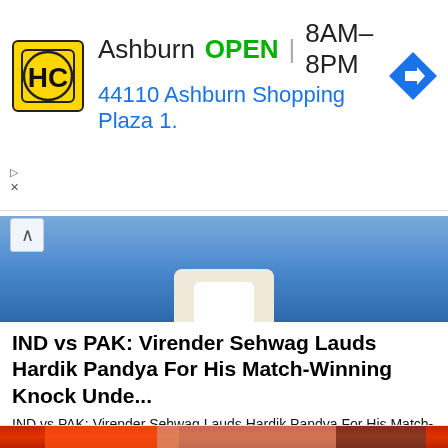[Figure (screenshot): Advertisement banner for Home Care (HC) business in Ashburn showing logo, open hours 8AM-8PM, and address 44110 Ashburn Shopping Plaza 1., with navigation arrow icon]
[Figure (photo): Top portion of a person wearing a blue jacket, face partially visible]
IND vs PAK: Virender Sehwag Lauds Hardik Pandya For His Match-Winning Knock Unde...
IND vs PAK: Virender Sehwag Lauds Hardik Pandya For His Match-Winning Knock Under Pressure
Cricaddictor
[Figure (photo): Person in red outfit pouring liquid from a glass pitcher, with a glass of water visible at bottom]